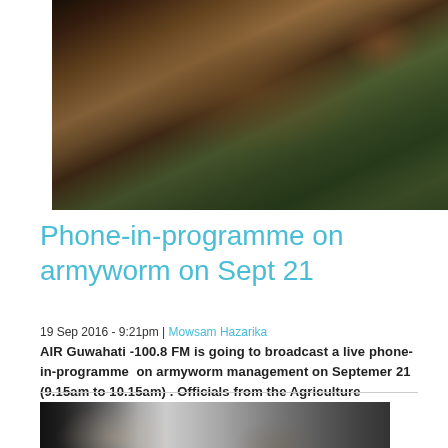[Figure (photo): Photo of a person holding something in their hands outdoors, with green vegetation in the background and another person partially visible]
Phone-in-programme on armyworm on Sept 21
19 Sep 2016 - 9:21pm | Mowsam Hazarika
AIR Guwahati -100.8 FM is going to broadcast a live phone-in-programme on armyworm management on Septemer 21 (9.15am to 10.15am) . Officials from the Agriculture Department will participate in...
[Figure (photo): Photo of people seated at a table indoors, appearing to be at a meeting or conference]